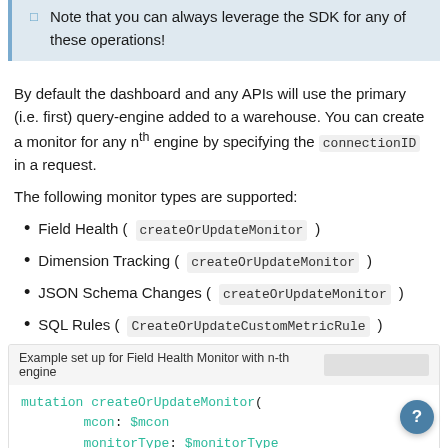Note that you can always leverage the SDK for any of these operations!
By default the dashboard and any APIs will use the primary (i.e. first) query-engine added to a warehouse. You can create a monitor for any nth engine by specifying the connectionID in a request.
The following monitor types are supported:
Field Health ( createOrUpdateMonitor )
Dimension Tracking ( createOrUpdateMonitor )
JSON Schema Changes ( createOrUpdateMonitor )
SQL Rules ( CreateOrUpdateCustomMetricRule )
Example set up for Field Health Monitor with n-th engine
mutation createOrUpdateMonitor(
    mcon: $mcon
    monitorType: $monitorType
    fields: $fields